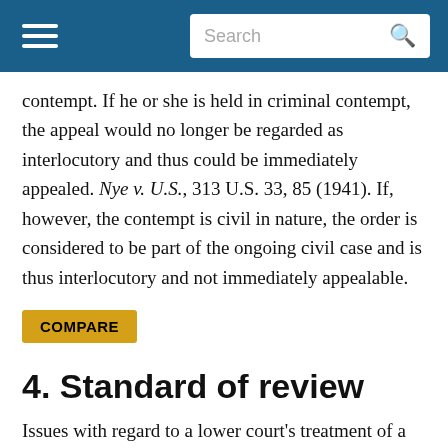Search
contempt. If he or she is held in criminal contempt, the appeal would no longer be regarded as interlocutory and thus could be immediately appealed. Nye v. U.S., 313 U.S. 33, 85 (1941). If, however, the contempt is civil in nature, the order is considered to be part of the ongoing civil case and is thus interlocutory and not immediately appealable.
COMPARE
4. Standard of review
Issues with regard to a lower court's treatment of a